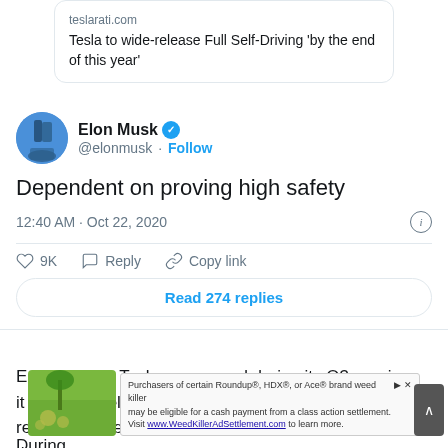[Figure (screenshot): Link preview card showing teslarati.com article headline: Tesla to wide-release Full Self-Driving 'by the end of this year']
[Figure (screenshot): Twitter/X post by Elon Musk (@elonmusk) with verified badge, Follow button, tweet text: 'Dependent on proving high safety', posted at 12:40 AM Oct 22, 2020, with 9K likes, Reply, Copy link actions, and Read 274 replies button]
Earlier today, Tesla announced during its Q3 earnings it would be releasing Full Self-Driving as a wide release by the end of 2020. Musk replied to a story on the atter to emp
During
[Figure (screenshot): Advertisement banner: Purchasers of certain Roundup®, HDX®, or Ace® brand weed killer may be eligible for a cash payment from a class action settlement. Visit www.WeedKillerAdSettlement.com to learn more.]